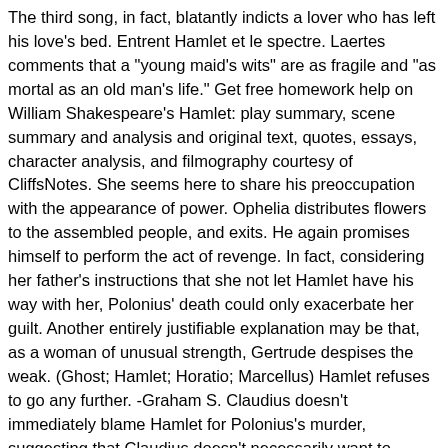The third song, in fact, blatantly indicts a lover who has left his love's bed. Entrent Hamlet et le spectre. Laertes comments that a "young maid's wits" are as fragile and "as mortal as an old man's life." Get free homework help on William Shakespeare's Hamlet: play summary, scene summary and analysis and original text, quotes, essays, character analysis, and filmography courtesy of CliffsNotes. She seems here to share his preoccupation with the appearance of power. Ophelia distributes flowers to the assembled people, and exits. He again promises himself to perform the act of revenge. In fact, considering her father's instructions that she not let Hamlet have his way with her, Polonius' death could only exacerbate her guilt. Another entirely justifiable explanation may be that, as a woman of unusual strength, Gertrude despises the weak. (Ghost; Hamlet; Horatio; Marcellus) Hamlet refuses to go any further. -Graham S. Claudius doesn't immediately blame Hamlet for Polonius's murder, suggesting that Claudius doesn't necessarily want to provoke Laertes to seek revenge on the prince. The king consoles him and asks him to come with him.